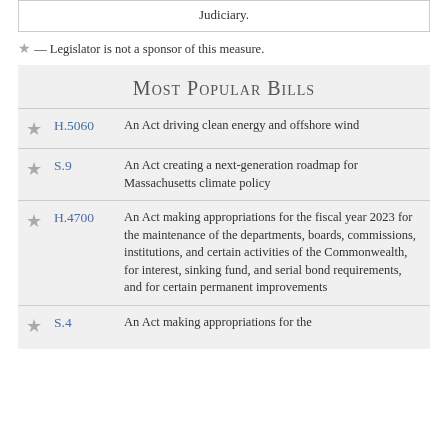Judiciary.
★ — Legislator is not a sponsor of this measure.
Most Popular Bills
H.5060 — An Act driving clean energy and offshore wind
S.9 — An Act creating a next-generation roadmap for Massachusetts climate policy
H.4700 — An Act making appropriations for the fiscal year 2023 for the maintenance of the departments, boards, commissions, institutions, and certain activities of the Commonwealth, for interest, sinking fund, and serial bond requirements, and for certain permanent improvements
S.4 — An Act making appropriations for the